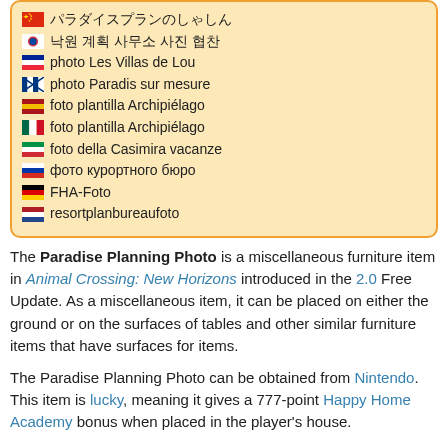🇨🇳 パラダイスプランのしゃしん
🇰🇷 낙원 계획 사무소 사진 협찬
🇫🇷 photo Les Villas de Lou
🇫🇮 photo Paradis sur mesure
🇪🇸 foto plantilla Archipiélago
🇲🇽 foto plantilla Archipiélago
🇮🇹 foto della Casimira vacanze
🇷🇺 фото курортного бюро
🇩🇪 FHA-Foto
🇳🇱 resortplanbureaufoto
The Paradise Planning Photo is a miscellaneous furniture item in Animal Crossing: New Horizons introduced in the 2.0 Free Update. As a miscellaneous item, it can be placed on either the ground or on the surfaces of tables and other similar furniture items that have surfaces for items.
The Paradise Planning Photo can be obtained from Nintendo. This item is lucky, meaning it gives a 777-point Happy Home Academy bonus when placed in the player's house.
No villagers have this item in their home.
In Happy Home Paradise, no villagers or facility unlock this item for designing. It can only be used once the player's catalog is unlocked